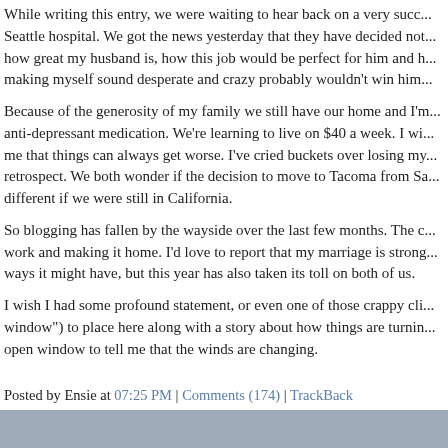While writing this entry, we were waiting to hear back on a very succ... Seattle hospital. We got the news yesterday that they have decided not... how great my husband is, how this job would be perfect for him and h... making myself sound desperate and crazy probably wouldn't win him...
Because of the generosity of my family we still have our home and I'm... anti-depressant medication. We're learning to live on $40 a week. I wi... me that things can always get worse. I've cried buckets over losing my... retrospect. We both wonder if the decision to move to Tacoma from S... different if we were still in California.
So blogging has fallen by the wayside over the last few months. The c... work and making it home. I'd love to report that my marriage is strong... ways it might have, but this year has also taken its toll on both of us.
I wish I had some profound statement, or even one of those crappy cli... window") to place here along with a story about how things are turnin... open window to tell me that the winds are changing.
Posted by Ensie at 07:25 PM | Comments (174) | TrackBack